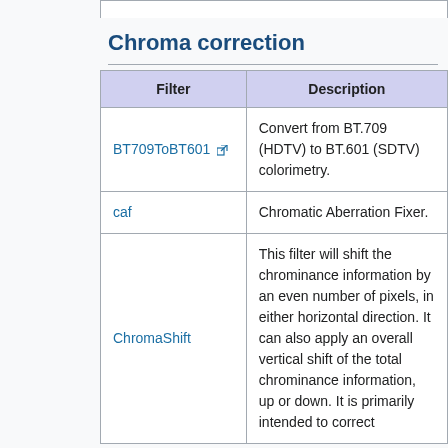Chroma correction
| Filter | Description |
| --- | --- |
| BT709ToBT601 | Convert from BT.709 (HDTV) to BT.601 (SDTV) colorimetry. |
| caf | Chromatic Aberration Fixer. |
| ChromaShift | This filter will shift the chrominance information by an even number of pixels, in either horizontal direction. It can also apply an overall vertical shift of the total chrominance information, up or down. It is primarily intended to correct |